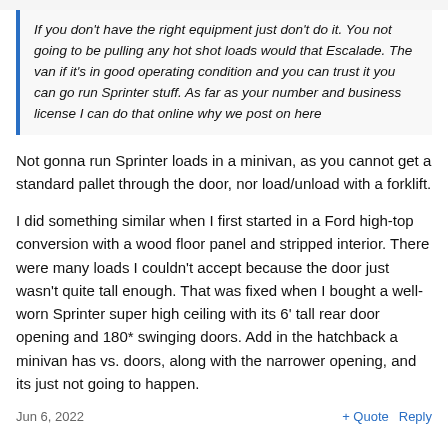If you don't have the right equipment just don't do it. You not going to be pulling any hot shot loads would that Escalade. The van if it's in good operating condition and you can trust it you can go run Sprinter stuff. As far as your number and business license I can do that online why we post on here
Not gonna run Sprinter loads in a minivan, as you cannot get a standard pallet through the door, nor load/unload with a forklift.
I did something similar when I first started in a Ford high-top conversion with a wood floor panel and stripped interior. There were many loads I couldn't accept because the door just wasn't quite tall enough. That was fixed when I bought a well-worn Sprinter super high ceiling with its 6' tall rear door opening and 180* swinging doors. Add in the hatchback a minivan has vs. doors, along with the narrower opening, and its just not going to happen.
Jun 6, 2022   + Quote   Reply